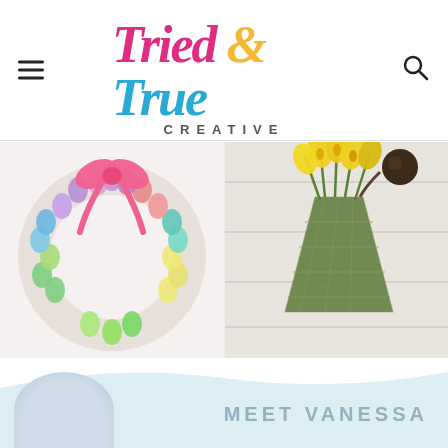Tried & True Creative
[Figure (photo): Rainbow Bunny Peeps wreath with colorful pastel bunny-shaped candies arranged in a circle with a pink bow on top]
Rainbow Bunny Peeps® Wreath
[Figure (photo): DIY Floral Wall Sconce with yellow flowers in a moss and chicken wire cone hanging on a white wooden wall with a dark door knob]
DIY Floral Wall Sconces
MEET VANESSA